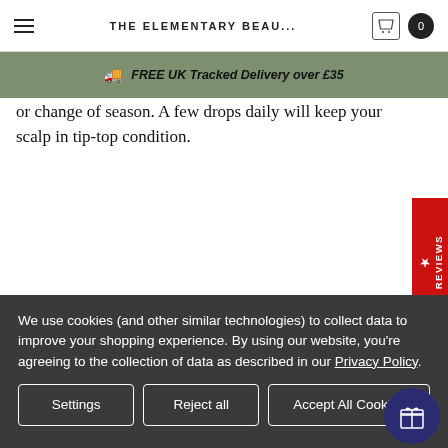THE ELEMENTARY BEAU...
🚚 FREE UK Tracked Delivery over £35
or change of season. A few drops daily will keep your scalp in tip-top condition.
[Figure (photo): Black dropper bottle product image, partially visible at bottom of page]
We use cookies (and other similar technologies) to collect data to improve your shopping experience. By using our website, you're agreeing to the collection of data as described in our Privacy Policy.